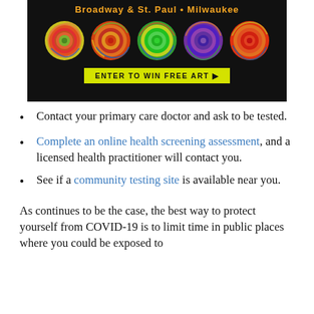[Figure (illustration): Art gallery advertisement banner with colorful concentric circle paintings on black background. Header text 'Broadway & St. Paul • Milwaukee' in orange/yellow. Button text 'ENTER TO WIN FREE ART ►' in yellow-green button.]
Contact your primary care doctor and ask to be tested.
Complete an online health screening assessment, and a licensed health practitioner will contact you.
See if a community testing site is available near you.
As continues to be the case, the best way to protect yourself from COVID-19 is to limit time in public places where you could be exposed to